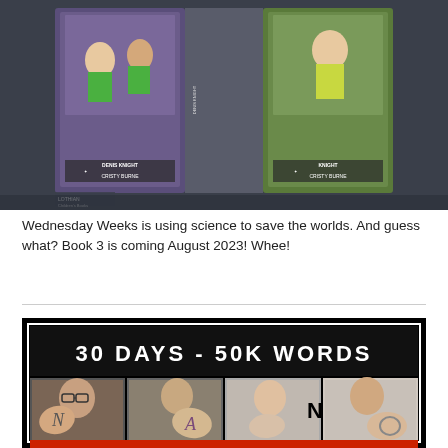[Figure (photo): Two book covers side by side, showing illustrated children's/YA books by Denis Knight and Cristy Burne, with characters in action poses. Lothian Children's Books logo visible at bottom left.]
Wednesday Weeks is using science to save the worlds. And guess what? Book 3 is coming August 2023! Whee!
[Figure (photo): NaNoWriMo promotional image on black background. Top text reads '30 DAYS - 50K WORDS'. Below are four photo panels of people holding up their hands showing letters N, A, N, O. Bottom strip is red with partial photos visible.]